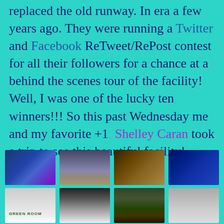replaced the old runway. In era few years ago. They were running a Twitter and Facebook ReTweet/RePost contest for all their followers for a chance at a behind the scenes tour of the facility! Well, I was one of the lucky ten winners!!! So this past Wednesday me and my favorite +1 Shelley Caran took a trip to see this beautiful facility!
[Figure (photo): Grid of 8 photos from a facility tour: electronic/circuit board, building exterior at dusk, warm-lit interior wall, blue storefront, Green Room sign, lit corridor lounge, leather chair, room with equipment]